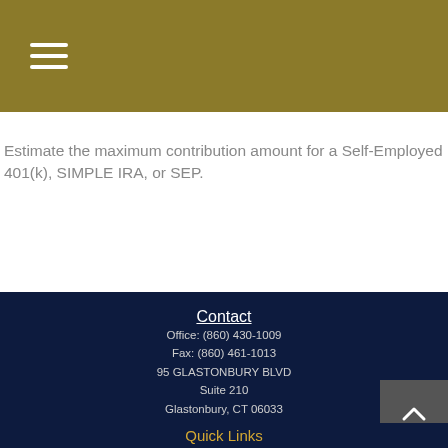Estimate the maximum contribution amount for a Self-Employed 401(k), SIMPLE IRA, or SEP.
Contact
Office: (860) 430-1009
Fax: (860) 461-1013
95 GLASTONBURY BLVD
Suite 210
Glastonbury, CT 06033
info@reedfinancial.net
Quick Links